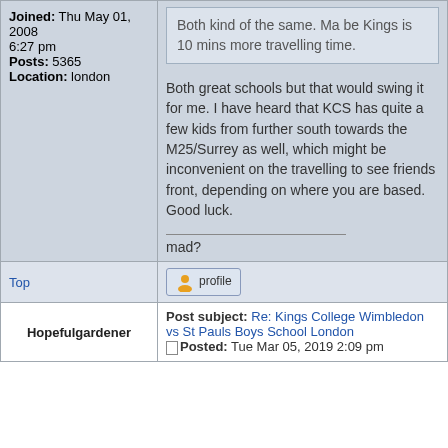Joined: Thu May 01, 2008 6:27 pm
Posts: 5365
Location: london
Both kind of the same. Ma be Kings is 10 mins more travelling time.
Both great schools but that would swing it for me. I have heard that KCS has quite a few kids from further south towards the M25/Surrey as well, which might be inconvenient on the travelling to see friends front, depending on where you are based. Good luck.
mad?
Top
profile
Hopefulgardener
Post subject: Re: Kings College Wimbledon vs St Pauls Boys School London
Posted: Tue Mar 05, 2019 2:09 pm